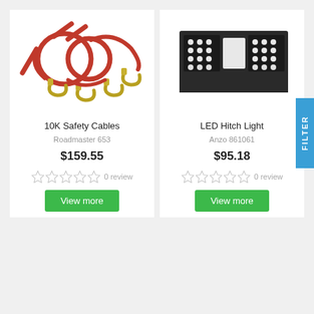[Figure (photo): Photo of 10K Safety Cables - red coiled cables with gold metal hooks]
[Figure (photo): Photo of LED Hitch Light - black rectangular unit with two LED panels]
10K Safety Cables
LED Hitch Light
Roadmaster 653
Anzo 861061
$159.55
$95.18
0 review
0 review
View more
View more
FILTER